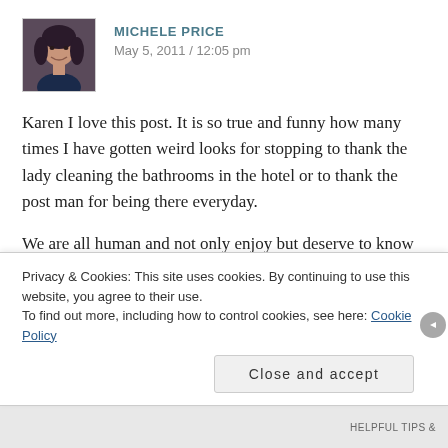[Figure (photo): Avatar photo of Michele Price, a woman with dark curly hair]
MICHELE PRICE
May 5, 2011 / 12:05 pm
Karen I love this post. It is so true and funny how many times I have gotten weird looks for stopping to thank the lady cleaning the bathrooms in the hotel or to thank the post man for being there everyday.
We are all human and not only enjoy but deserve to know we are appreciated. It is why this film is one of my favorites. It is call Validated. It is why I started last year making videos telling folks they had been validated. Wanting to pay it
Privacy & Cookies: This site uses cookies. By continuing to use this website, you agree to their use.
To find out more, including how to control cookies, see here: Cookie Policy
Close and accept